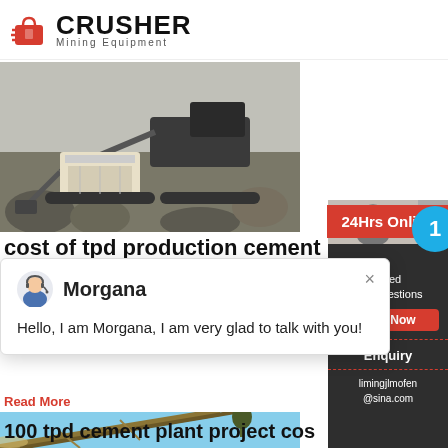[Figure (logo): Crusher Mining Equipment logo with red bag icon and bold CRUSHER text]
[Figure (photo): Mining/crushing machinery operating outdoors on rocky terrain]
cost of tpd production cement pl
24Hrs Online
Morgana
Hello, I am Morgana, I am very glad to talk with you!
Read More
[Figure (photo): Conveyor belt at a cement/aggregate plant against blue sky]
Need & suggestions
Chat Now
Enquiry
limingjlmofen@sina.com
100 tpd cement plant project cos